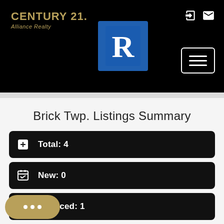[Figure (logo): Century 21 Alliance Realty logo with gold text on black background, Realtor R logo in blue box]
Brick Twp. Listings Summary
Total: 4
New: 0
Reduced: 1
Open House: 0